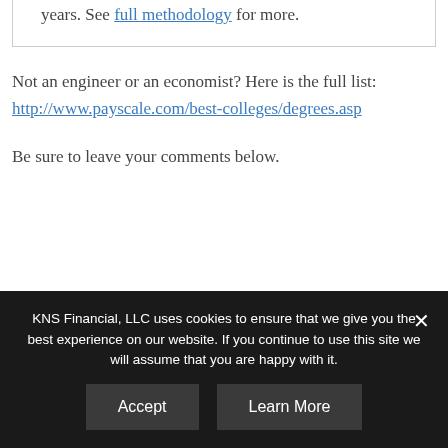years. See full methodology for more.
Not an engineer or an economist? Here is the full list: http://www.payscale.com/best-colleges/degrees.asp
Be sure to leave your comments below.
KNS Financial, LLC uses cookies to ensure that we give you the best experience on our website. If you continue to use this site we will assume that you are happy with it.